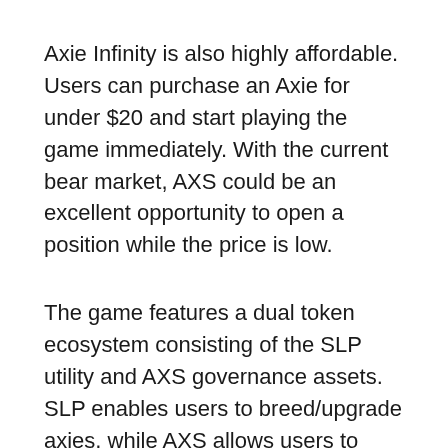Axie Infinity is also highly affordable. Users can purchase an Axie for under $20 and start playing the game immediately. With the current bear market, AXS could be an excellent opportunity to open a position while the price is low.
The game features a dual token ecosystem consisting of the SLP utility and AXS governance assets. SLP enables users to breed/upgrade axies, while AXS allows users to purchase Axies from the marketplace and participate in DAO governance.
You can buy AXS on KuCoin, Gemini, FTX, Binance, Kraken, etc.